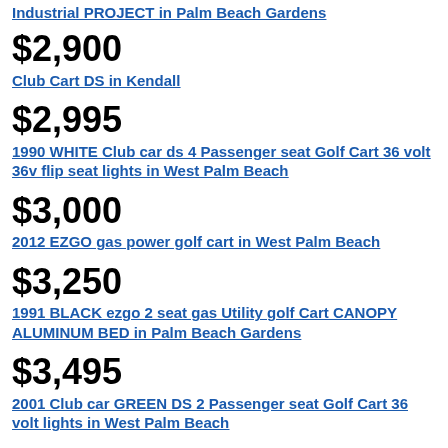Industrial PROJECT in Palm Beach Gardens
$2,900
Club Cart DS in Kendall
$2,995
1990 WHITE Club car ds 4 Passenger seat Golf Cart 36 volt 36v flip seat lights in West Palm Beach
$3,000
2012 EZGO gas power golf cart in West Palm Beach
$3,250
1991 BLACK ezgo 2 seat gas Utility golf Cart CANOPY ALUMINUM BED in Palm Beach Gardens
$3,495
2001 Club car GREEN DS 2 Passenger seat Golf Cart 36 volt lights in West Palm Beach
$3,495
CUSTOM GAS Ezgo txt 2 passenger seat golf cart led lights